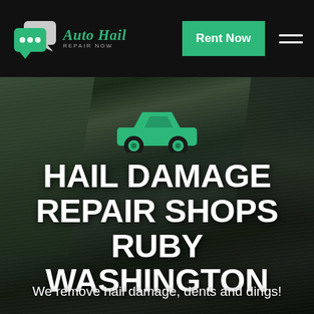Auto Hail Repair Now — Rent Now
[Figure (logo): Auto Hail Repair Now logo with green speech bubbles icon and cursive green text]
[Figure (illustration): Green car icon silhouette centered over dark stormy cliff background]
HAIL DAMAGE REPAIR SHOPS RUBY WASHINGTON
We remove hail damage, dents and dings!